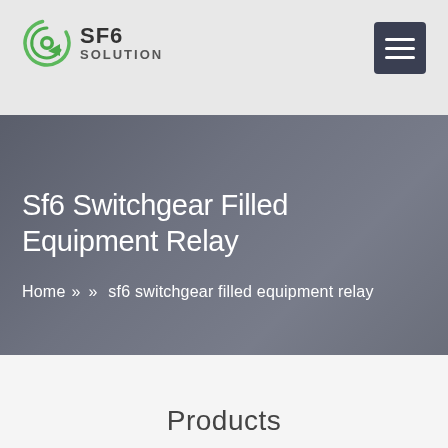SF6 SOLUTION
Sf6 Switchgear Filled Equipment Relay
Home » » sf6 switchgear filled equipment relay
Products